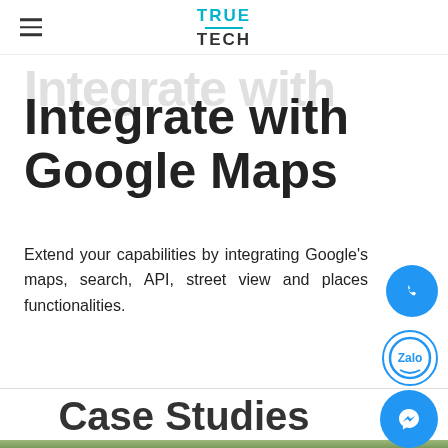TRUE TECH
Integrate with Google Maps
Extend your capabilities by integrating Google's maps, search, API, street view and places functionalities.
Case Studies
[Figure (photo): Aerial photograph of farmland/landscape visible at bottom of page]